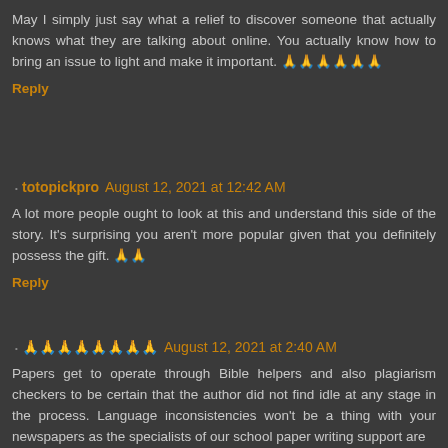May I simply just say what a relief to discover someone that actually knows what they are talking about online. You actually know how to bring an issue to light and make it important. 🙏🙏🙏🙏🙏🙏
Reply
totopickpro  August 12, 2021 at 12:42 AM
A lot more people ought to look at this and understand this side of the story. It's surprising you aren't more popular given that you definitely possess the gift. 🙏🙏
Reply
🙏🙏🙏🙏🙏🙏🙏🙏  August 12, 2021 at 2:40 AM
Papers get to operate through Bible helpers and also plagiarism checkers to be certain that the author did not find idle at any stage in the process. Language inconsistencies won't be a thing with your newspapers as the specialists of our school paper writing support are